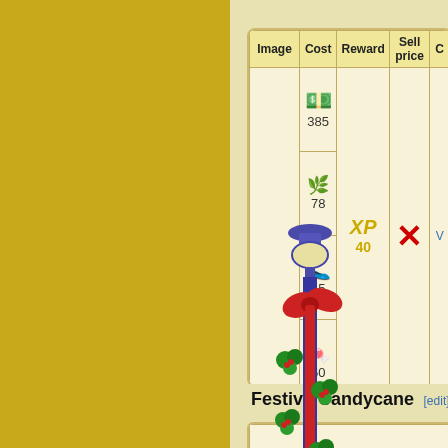| Image | Cost | Reward | Sell price | C |
| --- | --- | --- | --- | --- |
| [lamp post image] | 💵 385 / 🌿 78 / 👟 15 / 🍬 60 | XP 40 | ❌ | V |
Festive Candycane [edit]